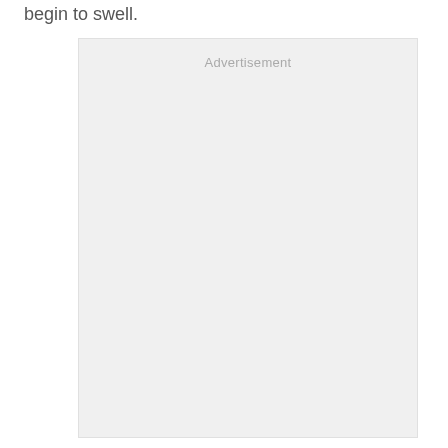begin to swell.
[Figure (other): Advertisement placeholder box with light gray background and the label 'Advertisement' at the top center.]